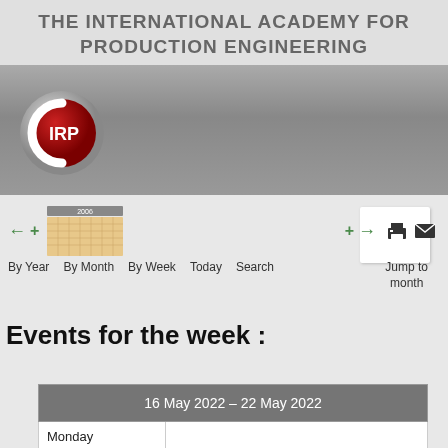THE INTERNATIONAL ACADEMY FOR PRODUCTION ENGINEERING
[Figure (logo): CIRP logo — red circle with silver ring, white letters IRP inside a C shape]
[Figure (screenshot): Calendar navigation UI with mini calendar icon (2006), left/right arrows, white input box, print and email icons]
By Year   By Month   By Week   Today   Search   Jump to month
Events for the week :
| 16 May 2022 – 22 May 2022 |  |
| --- | --- |
| Monday |  |